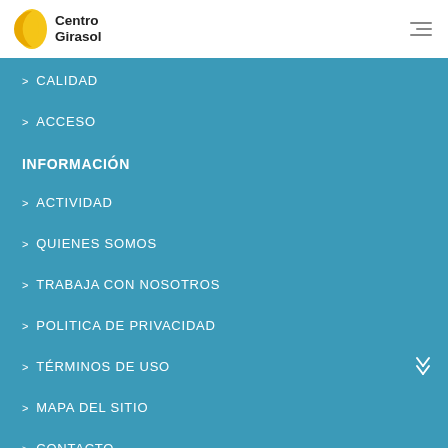[Figure (logo): Centro Girasol logo with yellow half-circle icon and bold text]
> CALIDAD
> ACCESO
INFORMACIÓN
> ACTIVIDAD
> QUIENES SOMOS
> TRABAJA CON NOSOTROS
> POLITICA DE PRIVACIDAD
> TÉRMINOS DE USO
> MAPA DEL SITIO
> CONTACTO